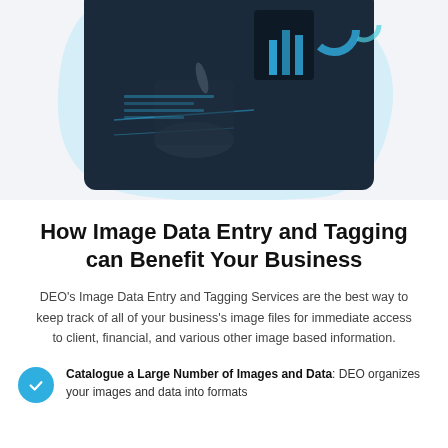[Figure (photo): Hero image of a businessman in a dark suit touching a digital holographic interface with charts and data visualizations, set against a blue-tinted blob shape on a light grey background.]
How Image Data Entry and Tagging can Benefit Your Business
DEO's Image Data Entry and Tagging Services are the best way to keep track of all of your business's image files for immediate access to client, financial, and various other image based information.
Catalogue a Large Number of Images and Data: DEO organizes your images and data into formats